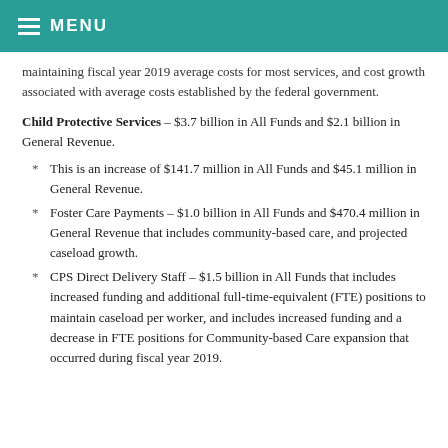MENU
maintaining fiscal year 2019 average costs for most services, and cost growth associated with average costs established by the federal government.
Child Protective Services – $3.7 billion in All Funds and $2.1 billion in General Revenue.
This is an increase of $141.7 million in All Funds and $45.1 million in General Revenue.
Foster Care Payments – $1.0 billion in All Funds and $470.4 million in General Revenue that includes community-based care, and projected caseload growth.
CPS Direct Delivery Staff – $1.5 billion in All Funds that includes increased funding and additional full-time-equivalent (FTE) positions to maintain caseload per worker, and includes increased funding and a decrease in FTE positions for Community-based Care expansion that occurred during fiscal year 2019.